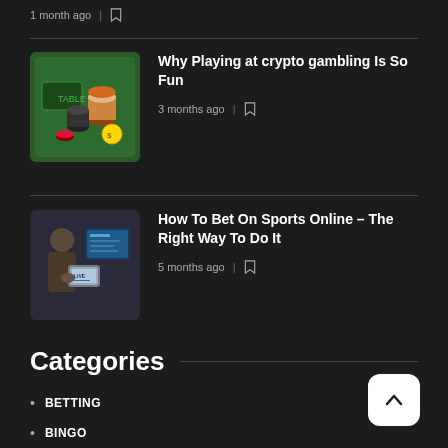1 month ago
Why Playing at crypto gambling Is So Fun
3 months ago
How To Bet On Sports Online – The Right Way To Do It
5 months ago
Categories
BETTING
BINGO